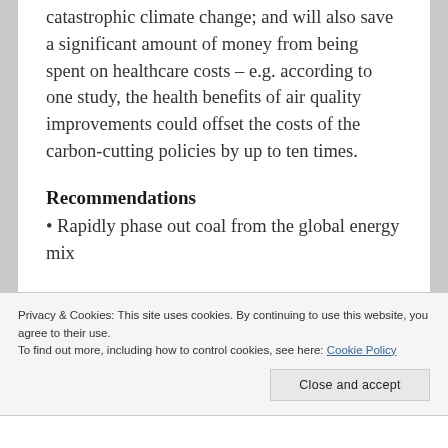catastrophic climate change; and will also save a significant amount of money from being spent on healthcare costs – e.g. according to one study, the health benefits of air quality improvements could offset the costs of the carbon-cutting policies by up to ten times.
Recommendations
• Rapidly phase out coal from the global energy mix
Privacy & Cookies: This site uses cookies. By continuing to use this website, you agree to their use.
To find out more, including how to control cookies, see here: Cookie Policy